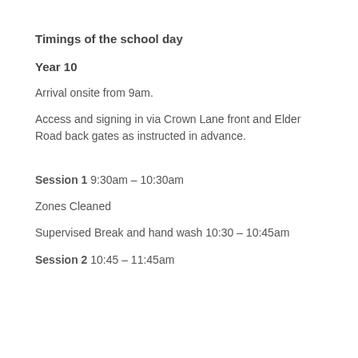Timings of the school day
Year 10
Arrival onsite from 9am.
Access and signing in via Crown Lane front and Elder Road back gates as instructed in advance.
Session 1  9:30am – 10:30am
Zones Cleaned
Supervised Break and hand wash 10:30 – 10:45am
Session 2 10:45 – 11:45am